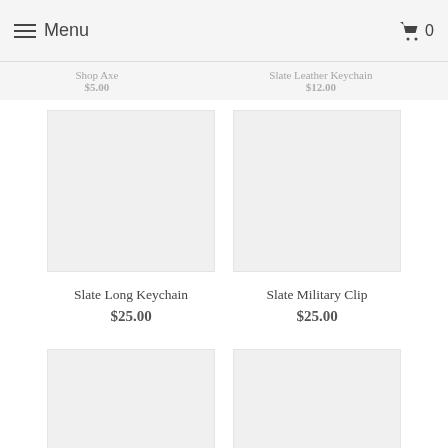Menu | Cart 0
Shop Axe $5.00 | Slate Leather Keychain $12.00
Slate Long Keychain
$25.00
Slate Military Clip
$25.00
[Figure (photo): Product image placeholder for Slate Long Keychain — light grey square]
[Figure (photo): Product image placeholder for Slate Military Clip — light grey square]
[Figure (photo): Product image placeholder for Slate Notebook — light grey square]
[Figure (photo): Product image placeholder for Slate Valet Tray — light grey square]
Slate Notebook
Slate Valet Tray